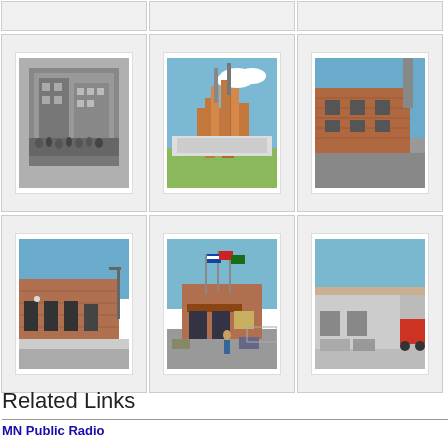[Figure (photo): Top row partial strip - three photo thumbnails partially visible at top of page]
[Figure (photo): Black and white historical photo of a large industrial/commercial building with crowds on the street]
[Figure (photo): Color photo of an industrial facility with large silos and smokestacks against blue sky]
[Figure (photo): Color photo of a brick industrial building exterior with blue sky (partially cropped right)]
[Figure (photo): Color photo of a brick building exterior with parking area and blue sky]
[Figure (photo): Color photo of a building entrance with flags and a person standing outside]
[Figure (photo): Color photo of an industrial or commercial building exterior (partially cropped right)]
Related Links
MN Public Radio